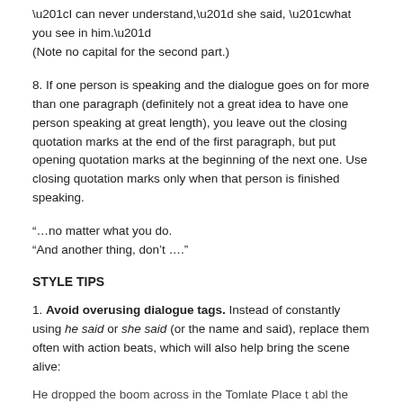“I can never understand,” she said, “what you see in him.”
(Note no capital for the second part.)
8. If one person is speaking and the dialogue goes on for more than one paragraph (definitely not a great idea to have one person speaking at great length), you leave out the closing quotation marks at the end of the first paragraph, but put opening quotation marks at the beginning of the next one. Use closing quotation marks only when that person is finished speaking.
“…no matter what you do.
“And another thing, don’t ….”
STYLE TIPS
1. Avoid overusing dialogue tags. Instead of constantly using he said or she said (or the name and said), replace them often with action beats, which will also help bring the scene alive:
He dropped the boom across in the Tomlate Place t abl the